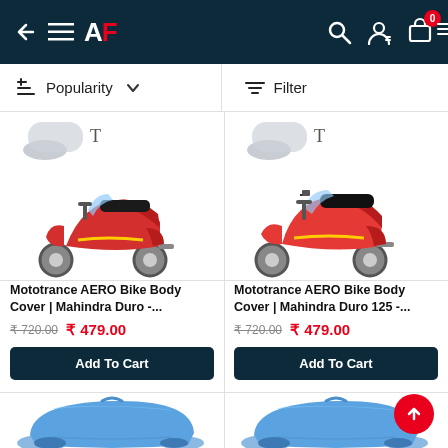[Figure (screenshot): Mobile app header with back arrow, hamburger menu, AF logo, search icon, account icon, and cart icon with badge showing 0]
Popularity   ∨   Filter
[Figure (photo): Red Mahindra Duro scooter product image with partial cover visible at top]
Mototrance AERO Bike Body Cover | Mahindra Duro -...
₹ 720.00   ₹ 479.00
Add To Cart
[Figure (photo): Red Mahindra Duro 125 scooter product image with partial cover visible at top]
Mototrance AERO Bike Body Cover | Mahindra Duro 125 -...
₹ 720.00   ₹ 479.00
Add To Cart
[Figure (photo): Blue motorcycle body cover draped over a motorcycle, partially visible]
[Figure (photo): Blue motorcycle body cover draped over a motorcycle, partially visible]